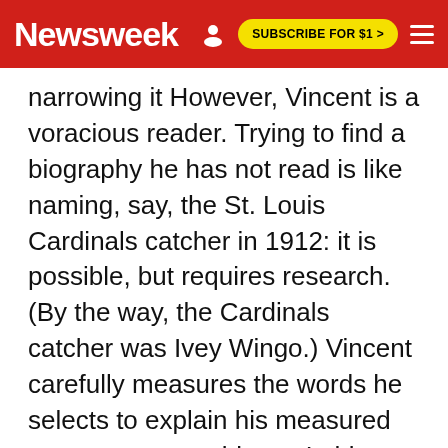Newsweek
narrowing it However, Vincent is a voracious reader. Trying to find a biography he has not read is like naming, say, the St. Louis Cardinals catcher in 1912: it is possible, but requires research. (By the way, the Cardinals catcher was Ivey Wingo.) Vincent carefully measures the words he selects to explain his measured responses to problems. In his delicacy and disdain for flamboyance baseball's eighth commissioner is utterly unlike the first.